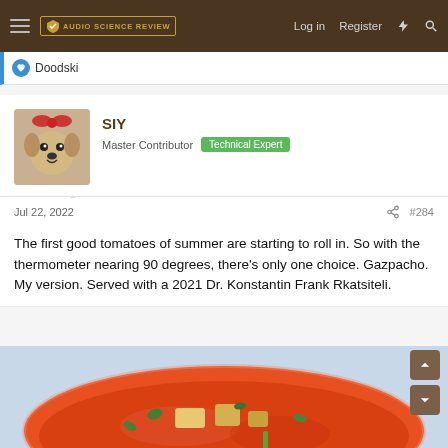Audio Science Review — Log in | Register
Doodski
SIY
Master Contributor  Technical Expert
Jul 22, 2022  #284
The first good tomatoes of summer are starting to roll in. So with the thermometer nearing 90 degrees, there's only one choice. Gazpacho. My version. Served with a 2021 Dr. Konstantin Frank Rkatsiteli.
[Figure (photo): A bowl of gazpacho soup with tomato base, croutons and garnishes on a blue plate]